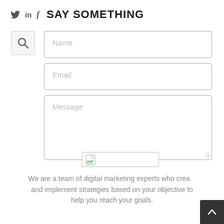SAY SOMETHING
[Figure (screenshot): Social media icons: Twitter bird, LinkedIn 'in', Facebook 'f' followed by the heading SAY SOMETHING]
[Figure (screenshot): Search icon button (magnifying glass) in a light grey box]
Name
Email
Message
[Figure (screenshot): Submit/send button with a small broken image icon placeholder]
We are a team of digital marketing experts who create and implement strategies based on your objective to help you reach your goals.